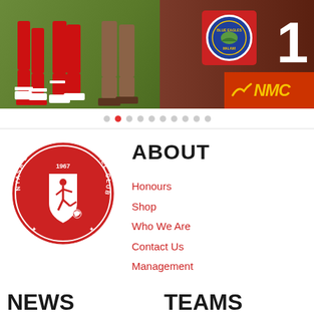[Figure (photo): Hero image of football players in red kits on a pitch, with a team badge showing score 1 and NMC sponsor logo on the right side]
[Figure (other): Carousel pagination dots, 10 dots with the second one highlighted in red]
[Figure (logo): Nyasa Big Bullets Football Club circular badge/crest in red with white player silhouette and text reading NYASA BIG BULLETS FOOTBALL CLUB 1967 THE PEOPLE'S TEAM]
ABOUT
Honours
Shop
Who We Are
Contact Us
Management
NEWS
TEAMS